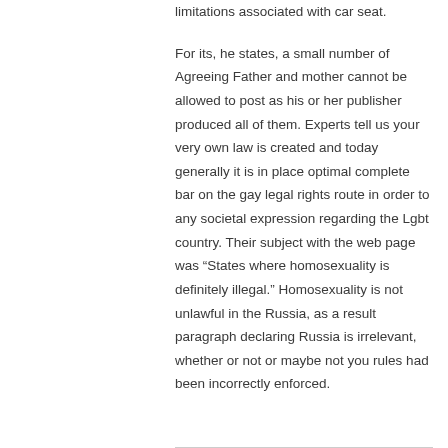limitations associated with car seat.
For its, he states, a small number of Agreeing Father and mother cannot be allowed to post as his or her publisher produced all of them. Experts tell us your very own law is created and today generally it is in place optimal complete bar on the gay legal rights route in order to any societal expression regarding the Lgbt country. Their subject with the web page was “States where homosexuality is definitely illegal.” Homosexuality is not unlawful in the Russia, as a result paragraph declaring Russia is irrelevant, whether or not or maybe not you rules had been incorrectly enforced.